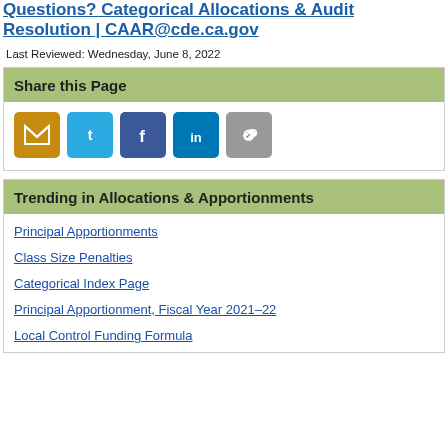Questions?  Categorical Allocations & Audit Resolution | CAAR@cde.ca.gov
Last Reviewed: Wednesday, June 8, 2022
Share this Page
[Figure (infographic): Social sharing icons: Email (orange), Twitter (blue), Facebook (dark blue), LinkedIn (blue), Copy Link (gray)]
Trending in Allocations & Apportionments
Principal Apportionments
Class Size Penalties
Categorical Index Page
Principal Apportionment, Fiscal Year 2021–22
Local Control Funding Formula